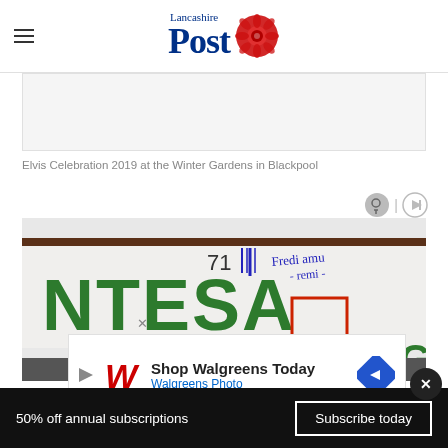Lancashire Post
[Figure (photo): Gray placeholder rectangle for an advertisement or image]
Elvis Celebration 2019 at the Winter Gardens in Blackpool
[Figure (photo): Close-up photo of a sign reading NTESA with handwritten notes and an Italian bank logo, showing framed signage with green letters on white background]
[Figure (infographic): Walgreens advertisement: Shop Walgreens Today - Walgreens Photo]
50% off annual subscriptions
Subscribe today